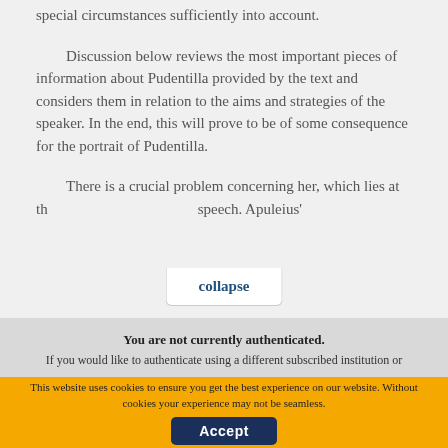special circumstances sufficiently into account.
Discussion below reviews the most important pieces of information about Pudentilla provided by the text and considers them in relation to the aims and strategies of the speaker. In the end, this will prove to be of some consequence for the portrait of Pudentilla.
There is a crucial problem concerning her, which lies at th… speech. Apuleius'
collapse
You are not currently authenticated. If you would like to authenticate using a different subscribed institution or
This website uses cookies to ensure you get the best experience on our website. Without cookies your experience may not be seamless.